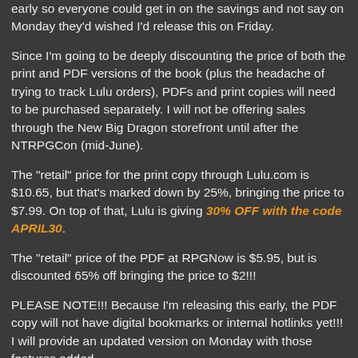early so everyone could get in on the savings and not say on Monday they'd wished I'd release this on Friday.
Since I'm going to be deeply discounting the price of both the print and PDF versions of the book (plus the headache of trying to track Lulu orders), PDFs and print copies will need to be purchased separately. I will not be offering sales through the New Big Dragon storefront until after the NTRPGCon (mid-June).
The "retail" price for the print copy through Lulu.com is $10.65, but that's marked down by 25%, bringing the price to $7.99. On top of that, Lulu is giving 30% OFF with the code APRIL30.
The "retail" price of the PDF at RPGNow is $5.95, but is discounted 65% off bringing the price to $2!!!
PLEASE NOTE!!! Because I'm releasing this early, the PDF copy will not have digital bookmarks or internal hotlinks yet!!! I will provide an updated version on Monday with those features added.